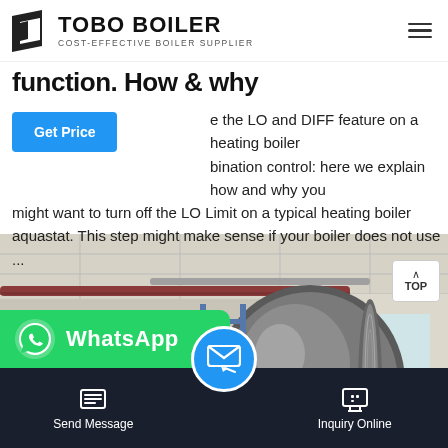TOBO BOILER — COST-EFFECTIVE BOILER SUPPLIER
function. How & why
... the LO and DIFF feature on a heating boiler combination control: here we explain how and why you might want to turn off the LO Limit on a typical heating boiler aquastat. This step might make sense if your boiler does not use ...
[Figure (photo): Industrial boiler installation in a building, showing large cylindrical silver/grey boiler tanks with piping and a metal ladder, ceiling structure visible above.]
Send Message | Inquiry Online